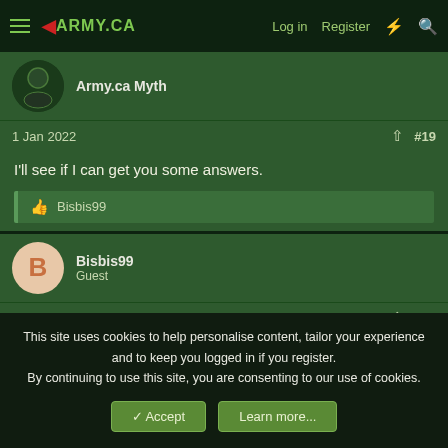ARMY.CA — Log in | Register
Army.ca Myth
1 Jan 2022   #19
I'll see if I can get you some answers.
Bisbis99
Bisbis99
Guest
1 Jan 2022   #20
This site uses cookies to help personalise content, tailor your experience and to keep you logged in if you register.
By continuing to use this site, you are consenting to our use of cookies.